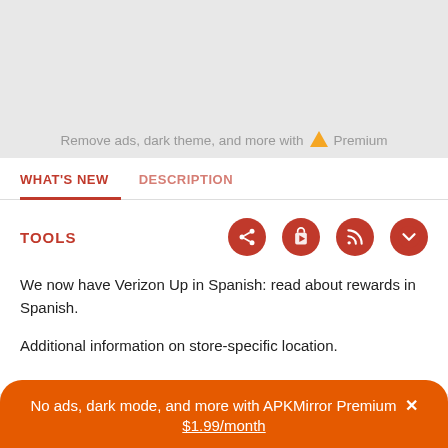Remove ads, dark theme, and more with ▲ Premium
WHAT'S NEW
DESCRIPTION
TOOLS
We now have Verizon Up in Spanish: read about rewards in Spanish.
Additional information on store-specific location.
No ads, dark mode, and more with APKMirror Premium × $1.99/month